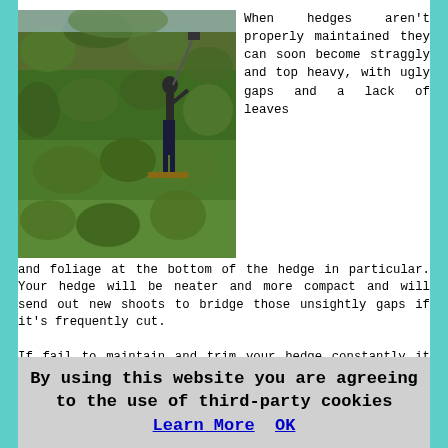[Figure (photo): A person trimming a very tall, dense green hedge using long-handled hedge trimmers, standing on steps. The hedge is thick and lush.]
When hedges aren't properly maintained they can soon become straggly and top heavy, with ugly gaps and a lack of leaves and foliage at the bottom of the hedge in particular. Your hedge will be neater and more compact and will send out new shoots to bridge those unsightly gaps if it's frequently cut.
If fail to maintain and trim your hedge constantly it will begin to spread outwards, which will not only occupy lots of your garden's space, but will also result in leafless clumps of twigs inside the hedge, which will ultimately be uncovered with unsightly consequences when the hedge is eventually trimmed. After it has got in this state it could
By using this website you are agreeing to the use of third-party cookies Learn More  OK